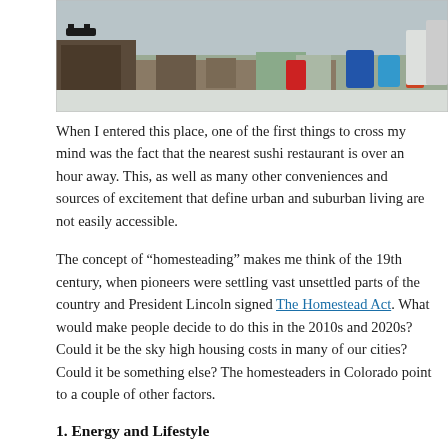[Figure (photo): Outdoor scene showing a cluttered area with debris, barrels, miscellaneous items and containers scattered on the ground in a rural/outdoor setting with snow visible]
When I entered this place, one of the first things to cross my mind was the fact that the nearest sushi restaurant is over an hour away. This, as well as many other conveniences and sources of excitement that define urban and suburban living are not easily accessible.
The concept of “homesteading” makes me think of the 19th century, when pioneers were settling vast unsettled parts of the country and President Lincoln signed The Homestead Act. What would make people decide to do this in the 2010s and 2020s? Could it be the sky high housing costs in many of our cities? Could it be something else? The homesteaders in Colorado point to a couple of other factors.
1. Energy and Lifestyle